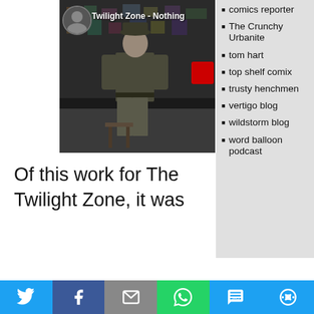[Figure (screenshot): Video thumbnail from a Twilight Zone episode showing a man in military jacket and hat standing in a room, with overlay text 'Twilight Zone - Nothing' and a small avatar circle in top left, and a red badge on the right side]
Of this work for The Twilight Zone, it was
comics reporter
The Crunchy Urbanite
tom hart
top shelf comix
trusty henchmen
vertigo blog
wildstorm blog
word balloon podcast
[Figure (infographic): Social sharing bar at the bottom with Twitter (blue), Facebook (dark blue), Email (gray), WhatsApp (green), SMS (blue), More (blue) buttons]